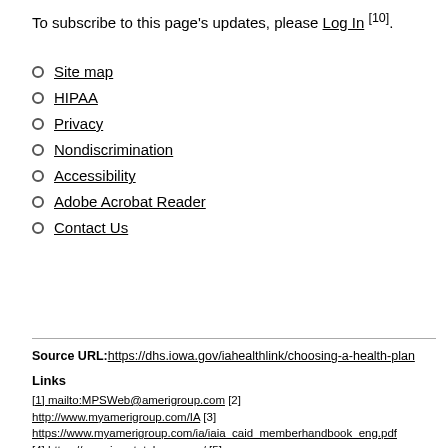To subscribe to this page's updates, please Log In [10].
Site map
HIPAA
Privacy
Nondiscrimination
Accessibility
Adobe Acrobat Reader
Contact Us
Source URL: https://dhs.iowa.gov/iahealthlink/choosing-a-health-plan
Links
[1] mailto:MPSWeb@amerigroup.com [2] http://www.myamerigroup.com/IA [3] https://www.myamerigroup.com/ia/iaia_caid_memberhandbook_eng.pdf [4] https://www.iowatotalcare.com/ [5] https://www.iowatotalcare.com/content/dam/centene/iowa-total-care/PDF/Updated-ITC_MemberHandbook2020_ENG.pdf [6] https://dhs.iowa.gov/ime/providers/MCO-contact-info [7] https://dhs.iowa.gov/iahealthlink/resources/member-specific [8] https://dhs.iowa.gov/iahealthlink/find-a-provider [9] http://dhs.iowa.gov/iahealthlink/choosing-a-health-plan/good-cause [10] https://dhs.iowa.gov/dhsuser